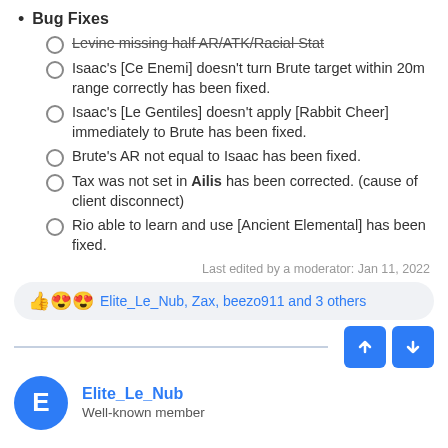Bug Fixes
Levine missing half AR/ATK/Racial Stat (strikethrough)
Isaac's [Ce Enemi] doesn't turn Brute target within 20m range correctly has been fixed.
Isaac's [Le Gentiles] doesn't apply [Rabbit Cheer] immediately to Brute has been fixed.
Brute's AR not equal to Isaac has been fixed.
Tax was not set in Ailis has been corrected. (cause of client disconnect)
Rio able to learn and use [Ancient Elemental] has been fixed.
Last edited by a moderator: Jan 11, 2022
Elite_Le_Nub, Zax, beezo911 and 3 others
Elite_Le_Nub
Well-known member